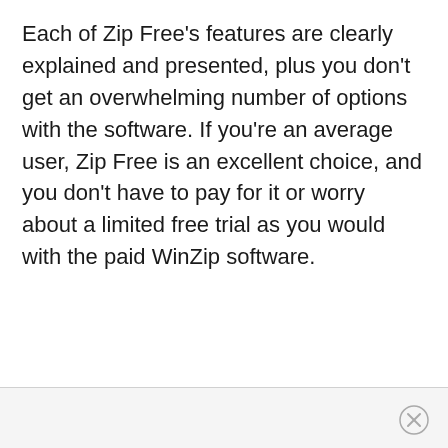Each of Zip Free's features are clearly explained and presented, plus you don't get an overwhelming number of options with the software. If you're an average user, Zip Free is an excellent choice, and you don't have to pay for it or worry about a limited free trial as you would with the paid WinZip software.